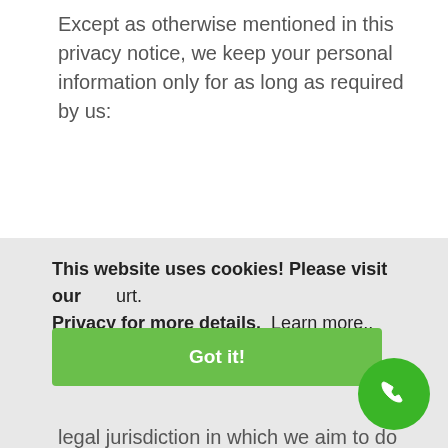Except as otherwise mentioned in this privacy notice, we keep your personal information only for as long as required by us:
17.1 to provide you with the services you have requested;
17.2 to comply with other law, including for the period demanded by our tax authorities;
This website uses cookies! Please visit our Privacy for more details.  Learn more..
Got it!
legal jurisdiction in which we aim to do